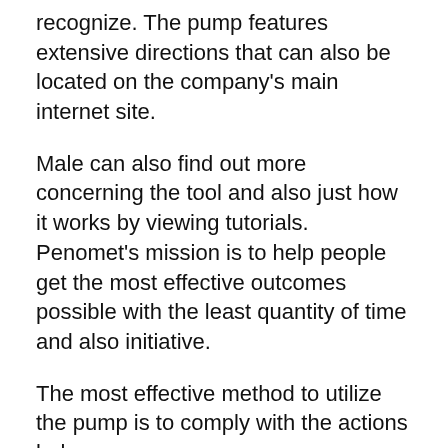recognize. The pump features extensive directions that can also be located on the company's main internet site.
Male can also find out more concerning the tool and also just how it works by viewing tutorials. Penomet's mission is to help people get the most effective outcomes possible with the least quantity of time and also initiative.
The most effective method to utilize the pump is to comply with the actions below:.
The most effective method is to begin with the lowest gaiter setting. Usually, this is the purple-colored 60 gaiter. If this gaiter does not work, merely move on to the following